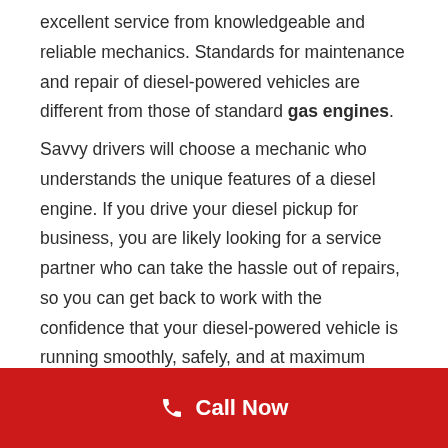excellent service from knowledgeable and reliable mechanics. Standards for maintenance and repair of diesel-powered vehicles are different from those of standard gas engines.
Savvy drivers will choose a mechanic who understands the unique features of a diesel engine. If you drive your diesel pickup for business, you are likely looking for a service partner who can take the hassle out of repairs, so you can get back to work with the confidence that your diesel-powered vehicle is running smoothly, safely, and at maximum capacity. Let’s take a closer look.
The Big Name in
Call Now